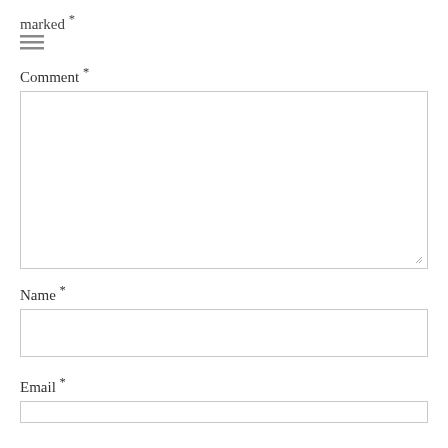marked *
[Figure (other): Hamburger/menu icon with three horizontal lines]
Comment *
[Figure (other): Large empty comment text area input field with resize handle]
Name *
[Figure (other): Single-line Name input text field]
Email *
[Figure (other): Single-line Email input text field (partially visible)]